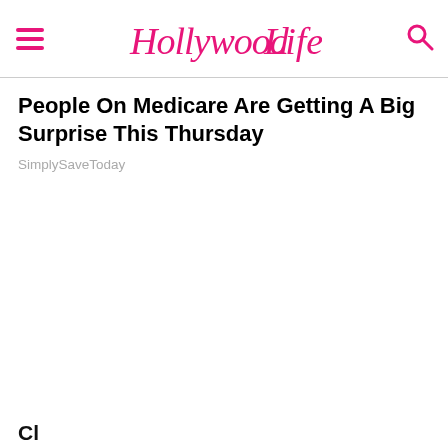HollywoodLife
People On Medicare Are Getting A Big Surprise This Thursday
SimplySaveToday
Cl...